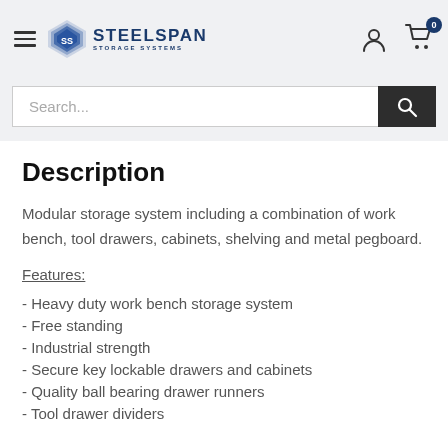STEELSPAN STORAGE SYSTEMS
Search...
Description
Modular storage system including a combination of work bench, tool drawers, cabinets, shelving and metal pegboard.
Features:
- Heavy duty work bench storage system
- Free standing
- Industrial strength
- Secure key lockable drawers and cabinets
- Quality ball bearing drawer runners
- Tool drawer dividers